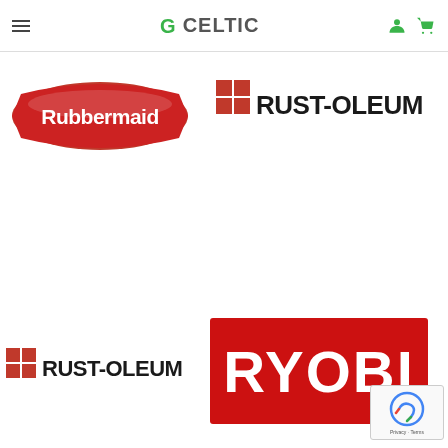GCELTIC
[Figure (logo): Rubbermaid logo - red pill/shield shape with white text]
[Figure (logo): Rust-Oleum logo - red grid icon with black text RUST-OLEUM]
[Figure (logo): Rust-Oleum logo - red grid icon with black text RUST-OLEUM (second instance)]
[Figure (logo): RYOBI logo - white text on red rectangle background]
[Figure (other): reCAPTCHA badge with Privacy and Terms links]